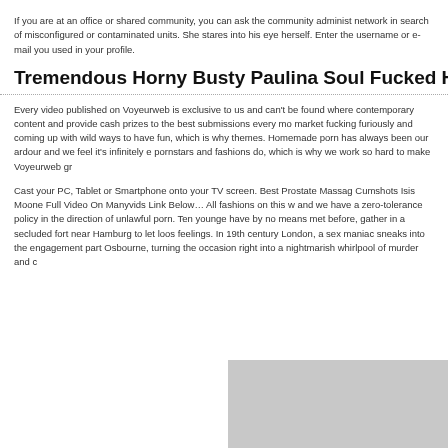If you are at an office or shared community, you can ask the community administ network in search of misconfigured or contaminated units. She stares into his eye herself. Enter the username or e-mail you used in your profile.
Tremendous Horny Busty Paulina Soul Fucked H
Every video published on Voyeurweb is exclusive to us and can't be found where contemporary content and provide cash prizes to the best submissions every mo market fucking furiously and coming up with wild ways to have fun, which is why themes. Homemade porn has always been our ardour and we feel it's infinitely e pornstars and fashions do, which is why we work so hard to make Voyeurweb gr
Cast your PC, Tablet or Smartphone onto your TV screen. Best Prostate Massag Cumshots Isis Moone Full Video On Manyvids Link Below… All fashions on this w and we have a zero-tolerance policy in the direction of unlawful porn. Ten younge have by no means met before, gather in a secluded fort near Hamburg to let loos feelings. In 19th century London, a sex maniac sneaks into the engagement part Osbourne, turning the occasion right into a nightmarish whirlpool of murder and c
[Figure (photo): Partial image visible at bottom right of page, appears to be a photograph with grey/light tones]